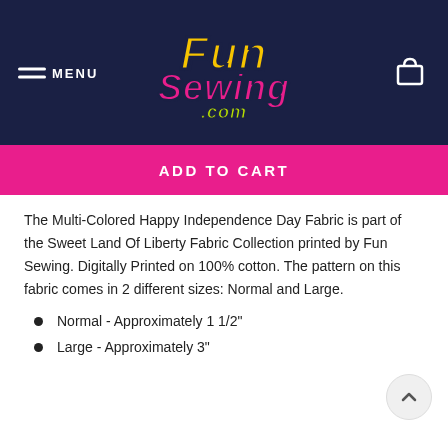[Figure (logo): Fun Sewing .com logo on dark navy header with menu button and cart icon]
ADD TO CART
The Multi-Colored Happy Independence Day Fabric is part of the Sweet Land Of Liberty Fabric Collection printed by Fun Sewing. Digitally Printed on 100% cotton. The pattern on this fabric comes in 2 different sizes: Normal and Large.
Normal - Approximately 1 1/2"
Large - Approximately 3"